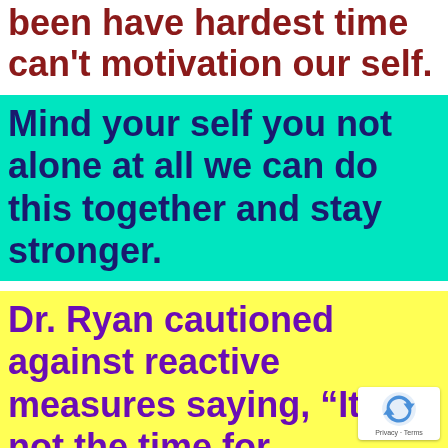been have hardest time can't motivation our self.
Mind your self you not alone at all we can do this together and stay stronger.
Dr. Ryan cautioned against reactive measures saying, “It is not the time for countries to move toward mitigation,” only if they are in a positi to affect the course of the